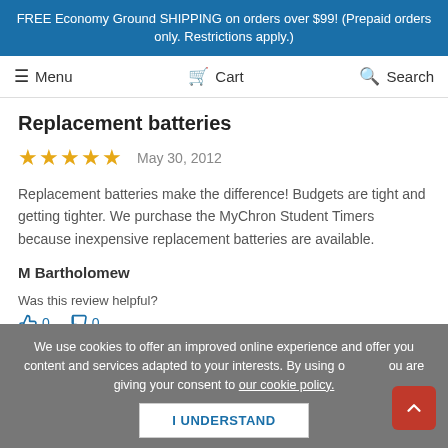FREE Economy Ground SHIPPING on orders over $99! (Prepaid orders only. Restrictions apply.)
Menu  Cart  Search
Replacement batteries
★★★★★  May 30, 2012
Replacement batteries make the difference! Budgets are tight and getting tighter. We purchase the MyChron Student Timers because inexpensive replacement batteries are available.
M Bartholomew
Was this review helpful?
👍0  👎0
We use cookies to offer an improved online experience and offer you content and services adapted to your interests. By using our site you are giving your consent to our cookie policy.  I UNDERSTAND